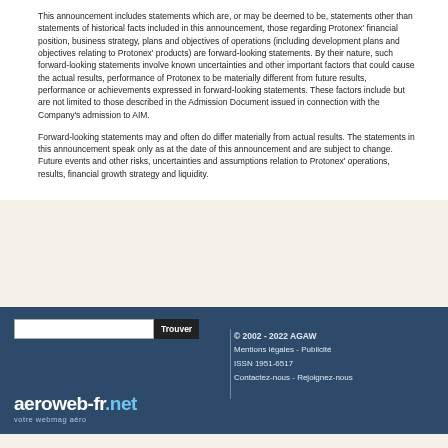This announcement includes statements which are, or may be deemed to be, statements other than statements of historical facts included in this announcement, those regarding Protonex' financial position, business strategy, plans and objectives of operations (including development plans and objectives relating to Protonex' products) are forward-looking statements. By their nature, such forward-looking statements involve known uncertainties and other important factors that could cause the actual results, performance of Protonex to be materially different from future results, performance or achievements expressed in forward-looking statements. These factors include but are not limited to those described in the Admission Document issued in connection with the Company's admission to AIM.
Forward-looking statements may and often do differ materially from actual results. The statements in this announcement speak only as at the date of this announcement and are subject to change. Future events and other risks, uncertainties and assumptions relation to Protonex' operations, results, financial growth strategy and liquidity.
© 2002 - 2022 AGAW | Mentions légales - Publicité | ISSN 1951-6517 | Contactez-nous - Rejoignez-nous | aeroweb-fr.net votre webmag aéro